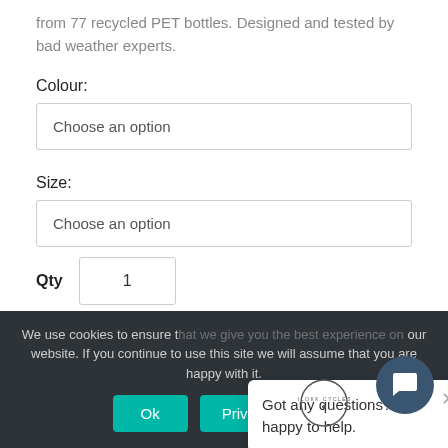from 77 recycled PET bottles. Designed and tested by bad weather experts.
Colour:
Choose an option
Size:
Choose an option
Qty  1
[Figure (other): Circular logo/badge with text around the ring]
Got any questions? I'm happy to help.
We use cookies to ensure that we give you the best experience on our website. If you continue to use this site we will assume that you are happy with it.
Ok
Privacy policy